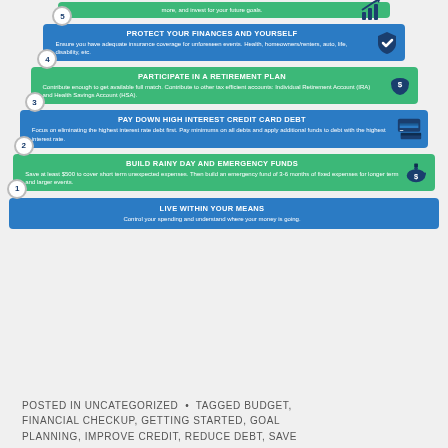[Figure (infographic): Financial priority pyramid with 6 steps numbered 1-5 from bottom to top. Step 1 (green): BUILD RAINY DAY AND EMERGENCY FUNDS - Save at least $500 to cover short term unexpected expenses. Then build an emergency fund of 3-6 months of fixed expenses for longer term and larger events. Step 2 (blue): PAY DOWN HIGH INTEREST CREDIT CARD DEBT - Focus on eliminating the highest interest rate debt first. Pay minimums on all debts and apply additional funds to debt with the highest interest rate. Step 3 (green): PARTICIPATE IN A RETIREMENT PLAN - Contribute enough to get available full match. Contribute to other tax efficient accounts: Individual Retirement Account (IRA) and Health Savings Account (HSA). Step 4 (blue): PROTECT YOUR FINANCES AND YOURSELF - Ensure you have adequate insurance coverage for unforeseen events. Health, homeowners/renters, auto, life, disability, etc. Step 5 (green, top): partial text - more, and invest for your future goals. BASE (blue): LIVE WITHIN YOUR MEANS - Control your spending and understand where your money is going.]
POSTED IN UNCATEGORIZED • TAGGED BUDGET, FINANCIAL CHECKUP, GETTING STARTED, GOAL PLANNING, IMPROVE CREDIT, REDUCE DEBT, SAVE